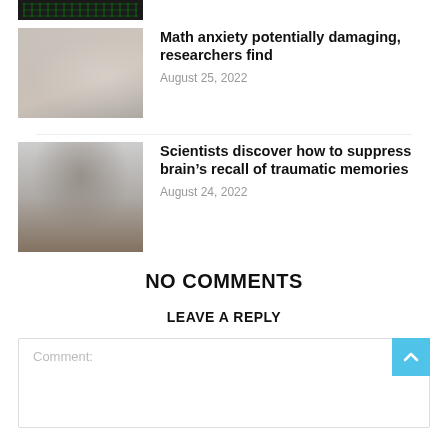[Figure (photo): Top strip showing partial image of a chalkboard with green background, cropped at top of page]
[Figure (photo): Student at a desk with head in hands, appearing stressed during an exam; teacher standing nearby]
Math anxiety potentially damaging, researchers find
August 25, 2022
[Figure (photo): Person wearing a grey beanie and brown hooded jacket seen from behind, in a foggy or grey environment]
Scientists discover how to suppress brain’s recall of traumatic memories
August 24, 2022
NO COMMENTS
LEAVE A REPLY
Comment: